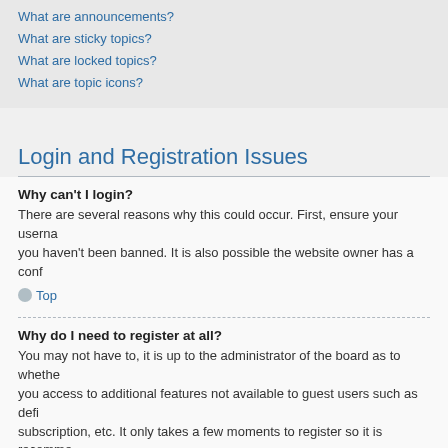What are announcements?
What are sticky topics?
What are locked topics?
What are topic icons?
Login and Registration Issues
Why can't I login?
There are several reasons why this could occur. First, ensure your username and password are correct and that you haven't been banned. It is also possible the website owner has a conf
Top
Why do I need to register at all?
You may not have to, it is up to the administrator of the board as to whether you need to register. Registering gives you access to additional features not available to guest users such as defining avatar images, private messaging, emailing of fellow users, usergroup subscription, etc. It only takes a few moments to register so it is recomme
Top
Why do I get logged off automatically?
If you do not check the Log me in automatically box when you login, the board will only keep you logged in for a preset time. This prevents misuse of your account by anyone else. To stay logged in, check the box during login. This is not recommended if you access the board from a shared computer, e.g. library, internet cafe, university computer lab, etc. If you do not see this ch
Top
How do I prevent my username appearing in the online user listings?